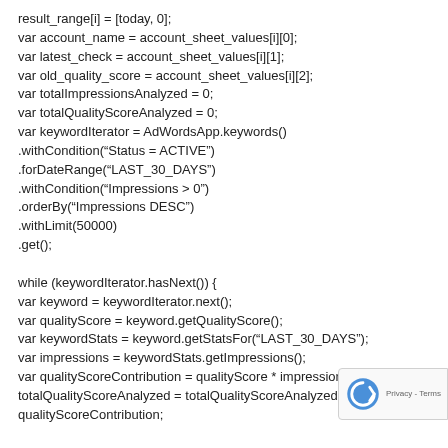result_range[i] = [today, 0];
var account_name = account_sheet_values[i][0];
var latest_check = account_sheet_values[i][1];
var old_quality_score = account_sheet_values[i][2];
var totalImpressionsAnalyzed = 0;
var totalQualityScoreAnalyzed = 0;
var keywordIterator = AdWordsApp.keywords()
.withCondition(“Status = ACTIVE”)
.forDateRange(“LAST_30_DAYS”)
.withCondition(“Impressions > 0”)
.orderBy(“Impressions DESC”)
.withLimit(50000)
.get();

while (keywordIterator.hasNext()) {
var keyword = keywordIterator.next();
var qualityScore = keyword.getQualityScore();
var keywordStats = keyword.getStatsFor(“LAST_30_DAYS”);
var impressions = keywordStats.getImpressions();
var qualityScoreContribution = qualityScore * impressions;
totalQualityScoreAnalyzed = totalQualityScoreAnalyzed +
qualityScoreContribution;